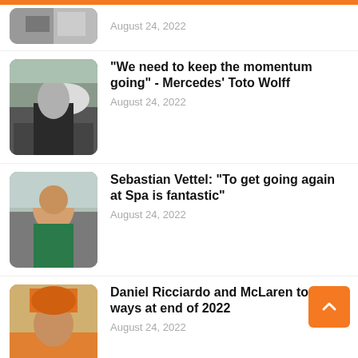August 24, 2022
[Figure (photo): Partially visible racing image, cropped at top]
"We need to keep the momentum going" - Mercedes' Toto Wolff
August 24, 2022
[Figure (photo): Mercedes F1 car in pit lane]
Sebastian Vettel: "To get going again at Spa is fantastic"
August 24, 2022
[Figure (photo): Sebastian Vettel smiling, wearing Aston Martin gear, being interviewed]
Daniel Ricciardo and McLaren to part ways at end of 2022
August 24, 2022
[Figure (photo): Daniel Ricciardo in orange McLaren hat and gear]
Cody Ware loses crew chief, two other crewmen after ballast drop
August 24, 2022
[Figure (photo): NASCAR race cars on track]